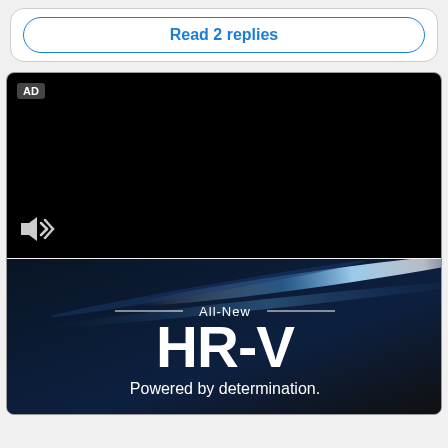Read 2 replies
[Figure (screenshot): Video advertisement for Honda HR-V with AD badge, speaker icon, black video area, and lower section showing 'All-New HR-V Powered by determination.' text on dark blue background]